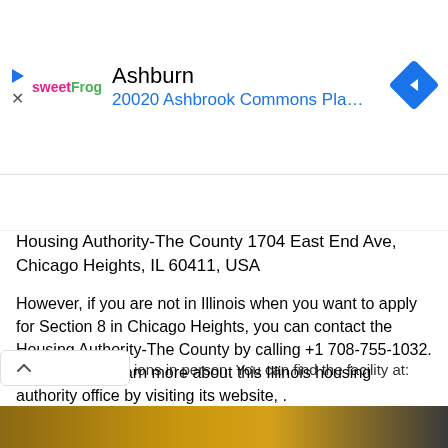[Figure (screenshot): Advertisement banner showing sweetFrog logo, Ashburn location, address 20020 Ashbrook Commons Pla..., and navigation diamond icon]
ions in person. You can find the facility at:
Housing Authority-The County 1704 East End Ave, Chicago Heights, IL 60411, USA
However, if you are not in Illinois when you want to apply for Section 8 in Chicago Heights, you can contact the Housing Authority-The County by calling +1 708-755-1032. You can also learn more about this Illinois housing authority office by visiting its website, .
Answers For Tenants Using Hud Vouchers
[Figure (photo): Partial image strip at bottom of page]